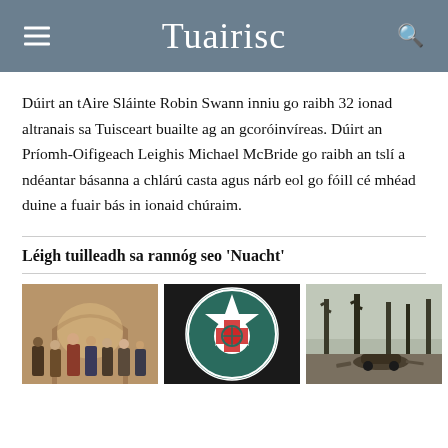Tuairisc
Dúirt an tAire Sláinte Robin Swann inniu go raibh 32 ionad altranais sa Tuisceart buailte ag an gcoróinvíreas. Dúirt an Príomh-Oifigeach Leighis Michael McBride go raibh an tslí a ndéantar básanna a chlárú casta agus nárb eol go fóill cé mhéad duine a fuair bás in ionaid chúraim.
Léigh tuilleadh sa rannóg seo 'Nuacht'
[Figure (photo): Group of people posing indoors near an ornate arched entrance]
[Figure (photo): Police Service of Northern Ireland badge/logo]
[Figure (photo): Burnt or smoke-damaged trees in a foggy landscape with wreckage]